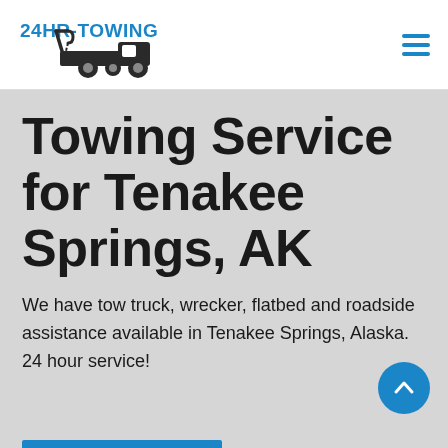[Figure (logo): 24HR-TOWING logo with tow truck illustration and blue text '24HR-TOWING']
Towing Service for Tenakee Springs, AK
We have tow truck, wrecker, flatbed and roadside assistance available in Tenakee Springs, Alaska. 24 hour service!